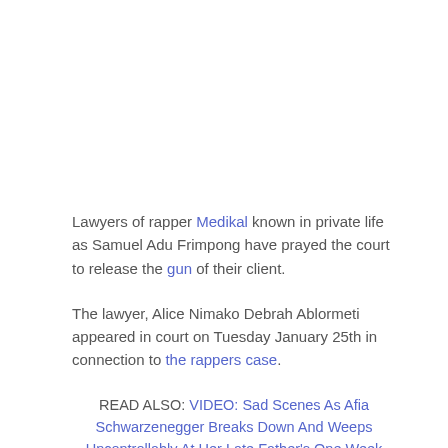Lawyers of rapper Medikal known in private life as Samuel Adu Frimpong have prayed the court to release the gun of their client.
The lawyer, Alice Nimako Debrah Ablormeti appeared in court on Tuesday January 25th in connection to the rappers case.
READ ALSO: VIDEO: Sad Scenes As Afia Schwarzenegger Breaks Down And Weeps Uncontrollably At Her Late Father's One Week Observation